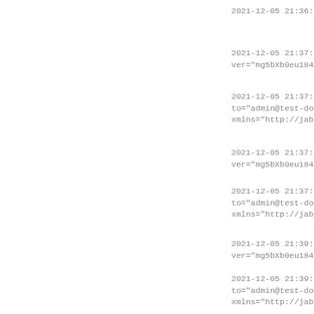2021-12-05 21:36:39 | |
2021-12-05 21:37:40 |
ver="mg5bXb0eu1848vxdgu
2021-12-05 21:37:40 | &
to="admin@test-domain.c
xmlns="http://jabber.or
2021-12-05 21:37:42 |
ver="mg5bXb0eu1848vxdgu
2021-12-05 21:37:42 | &
to="admin@test-domain.c
xmlns="http://jabber.or
2021-12-05 21:39:44 |
ver="mg5bXb0eu1848vxdgu
2021-12-05 21:39:44 | &
to="admin@test-domain.c
xmlns="http://jabber.or
2021-12-05 21:39:50 |
ver="mg5bXb0eu1848vxdgu